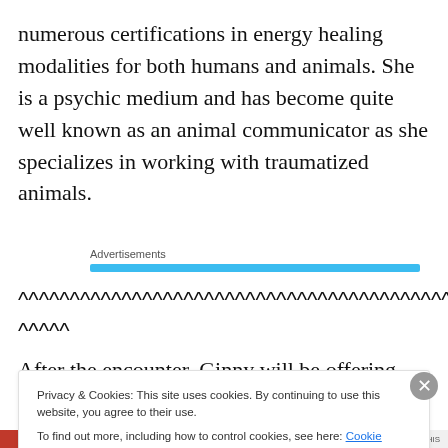numerous certifications in energy healing modalities for both humans and animals. She is a psychic medium and has become quite well known as an animal communicator as she specializes in working with traumatized animals.
Advertisements
^^^^^^^^^^^^^^^^^^^^^^^^^^^^^^^^^^^^^^^^^^^^^^^^^^^^ ^^^^^
After the encounter, Ginny will be offering Private
Privacy & Cookies: This site uses cookies. By continuing to use this website, you agree to their use.
To find out more, including how to control cookies, see here: Cookie Policy
Close and accept